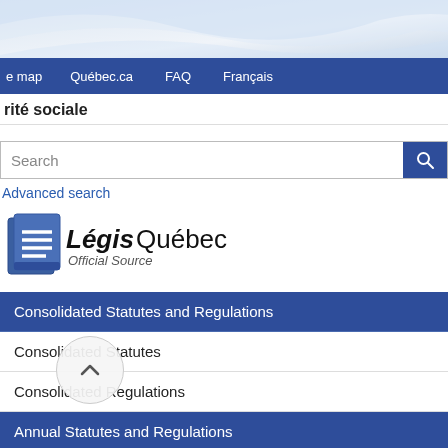[Figure (screenshot): Decorative wave header graphic with light blue/grey gradient curves]
e map   Québec.ca   FAQ   Français
rité sociale
Search
Advanced search
[Figure (logo): LégisQuébec Official Source logo with document icon]
Consolidated Statutes and Regulations
Consolidated Statutes
Consolidated Regulations
Annual Statutes and Regulations
Annual Statutes
Annual Regulations
Additional information